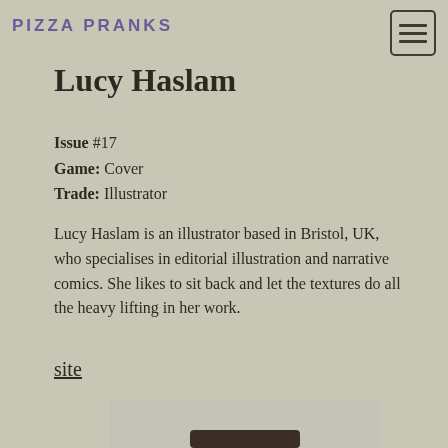PIZZA PRANKS
Lucy Haslam
Issue #17
Game: Cover
Trade: Illustrator
Lucy Haslam is an illustrator based in Bristol, UK, who specialises in editorial illustration and narrative comics. She likes to sit back and let the textures do all the heavy lifting in her work.
site
[Figure (photo): Partial photo of Lucy Haslam, cropped at bottom of page, showing top of head with dark hair]